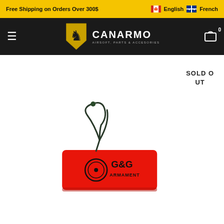Free Shipping on Orders Over 300$  English  French
[Figure (logo): Canarmo logo with lion crest and text CANARMO AIRSOFT, PARTS & ACCESSORIES on dark navigation bar]
SOLD OUT
[Figure (photo): G&G Armament red barrel sock/chamber flag with black drawstring cord on white background]